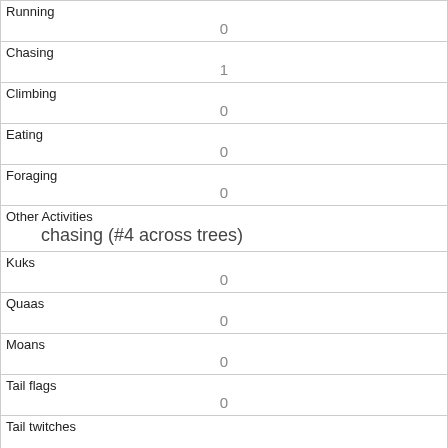| Running | 0 |
| Chasing | 1 |
| Climbing | 0 |
| Eating | 0 |
| Foraging | 0 |
| Other Activities | chasing (#4 across trees) |
| Kuks | 0 |
| Quaas | 0 |
| Moans | 0 |
| Tail flags | 0 |
| Tail twitches |  |